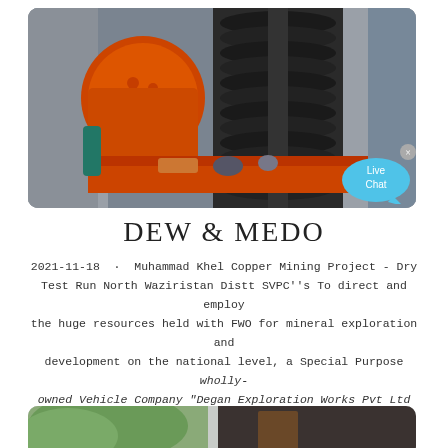[Figure (photo): Industrial mining equipment showing an orange ball mill and black spiral/screw conveyor machinery on a metal frame structure]
DEW & MEDO
2021-11-18 · Muhammad Khel Copper Mining Project - Dry Test Run North Waziristan Distt SVPC''s To direct and employ the huge resources held with FWO for mineral exploration and development on the national level, a Special Purpose wholly-owned Vehicle Company "Degan Exploration Works Pvt Ltd (DEW)" has been established as a subsidiary of FWO.
[Figure (photo): Partial view of a building exterior with trees and a dark wall/door visible]